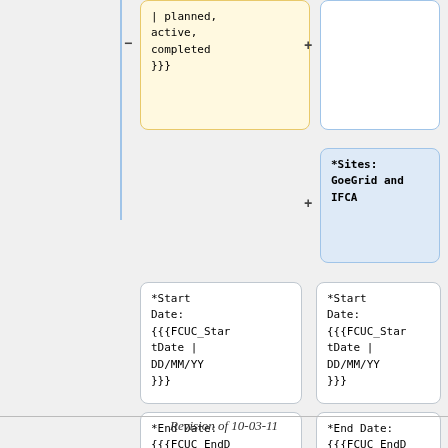[Figure (flowchart): Flowchart showing template boxes with yellow box containing '| planned, active, completed }}}', a blue outlined box, a blue filled box with '*Sites: GoeGrid and IFCA', two white boxes each containing '*Start Date: {{{FCUC_StartDate | DD/MM/YY }}}', two white boxes each containing '*End Date: {{{FCUC_EndDate | DD/MM/YY}}}', with minus and plus connectors between boxes.]
Revision of 10-03-11